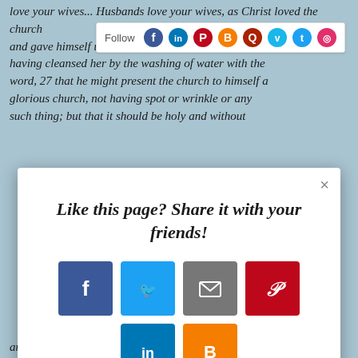love your wives... Husbands love your wives, as Christ loved the church and gave himself up for her, 26 that he might sanctify her, having cleansed her by the washing of water with the word, 27 that he might present the church to himself a glorious church, not having spot or wrinkle or any such thing; but that it should be holy and without
[Figure (screenshot): Social media follow bar with icons for Facebook, LinkedIn, Pinterest, Blogger, Quora, Vimeo, Twitter, Instagram]
[Figure (screenshot): Modal popup with title 'Like this page? Share it with your friends!' and social sharing buttons for Facebook, Twitter, Email, Pinterest, LinkedIn, Blogger, and a plus button. AddThis branding at bottom right.]
and women are evident in the Scriptures from the very beginning